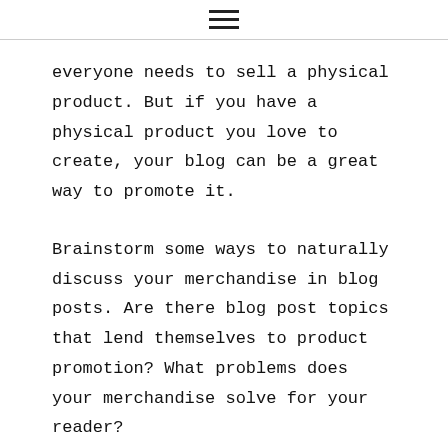≡
everyone needs to sell a physical product. But if you have a physical product you love to create, your blog can be a great way to promote it.
Brainstorm some ways to naturally discuss your merchandise in blog posts. Are there blog post topics that lend themselves to product promotion? What problems does your merchandise solve for your reader?
COULD I SELL MY EXPERTISE ON THIS TOPIC DIRECTLY, THROUGH EBOOKS, COURSES, OR MENTORSHIPS?